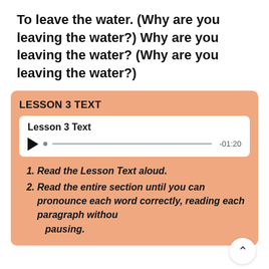To leave the water. (Why are you leaving the water?) Why are you leaving the water? (Why are you leaving the water?)
LESSON 3 TEXT
[Figure (other): Audio player widget showing 'Lesson 3 Text' label with play button, progress bar, and time -01:20]
1. Read the Lesson Text aloud.
2. Read the entire section until you can pronounce each word correctly, reading each paragraph without pausing.